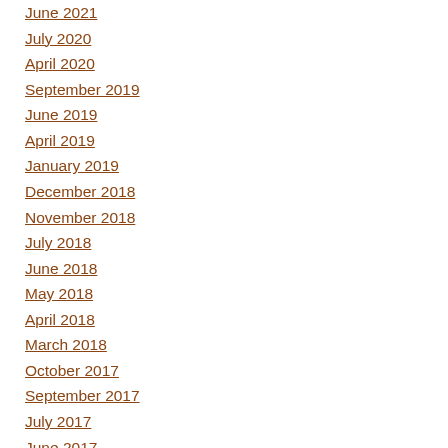June 2021
July 2020
April 2020
September 2019
June 2019
April 2019
January 2019
December 2018
November 2018
July 2018
June 2018
May 2018
April 2018
March 2018
October 2017
September 2017
July 2017
June 2017
May 2017